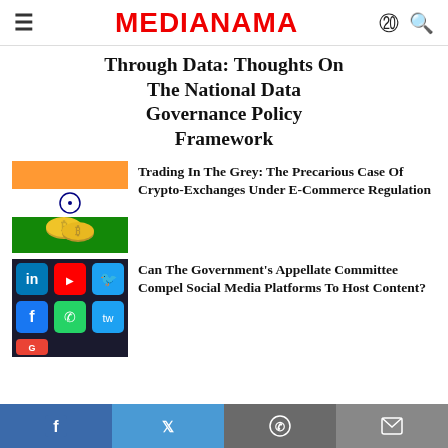MEDIANAMA
Through Data: Thoughts On The National Data Governance Policy Framework
[Figure (photo): Indian flag colors with Bitcoin cryptocurrency coins in foreground]
Trading In The Grey: The Precarious Case Of Crypto-Exchanges Under E-Commerce Regulation
[Figure (photo): Smartphone screen showing social media app icons including LinkedIn, YouTube, Facebook, Twitter, Google]
Can The Government's Appellate Committee Compel Social Media Platforms To Host Content?
f  Twitter  WhatsApp  Email share buttons